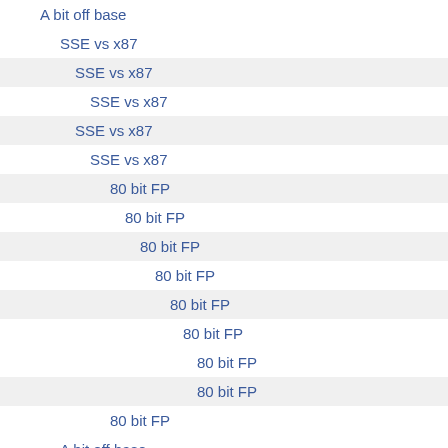A bit off base
SSE vs x87
SSE vs x87
SSE vs x87
SSE vs x87
SSE vs x87
80 bit FP
80 bit FP
80 bit FP
80 bit FP
80 bit FP
80 bit FP
80 bit FP
80 bit FP
80 bit FP
A bit off base
A bit off base
A bit off base
A bit off base
A bit off base
A bit off base
A bit off base
A bit off base